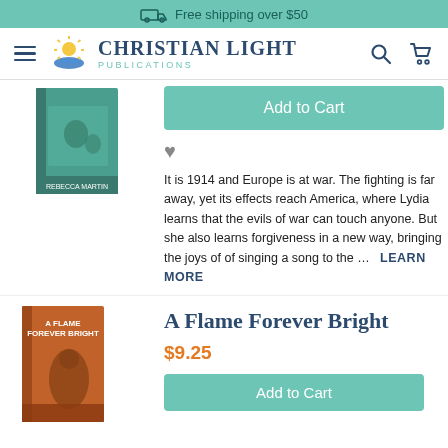Free shipping over $50
[Figure (logo): Christian Light Publications logo with sun and open book]
[Figure (photo): Book cover showing Rebecca Martin title with figures in teal tones]
Add to Cart
It is 1914 and Europe is at war. The fighting is far away, yet its effects reach America, where Lydia learns that the evils of war can touch anyone. But she also learns forgiveness in a new way, bringing the joys of of singing a song to the ... LEARN MORE
[Figure (photo): Book cover: A Flame Forever Bright, orange/sepia toned with figure at desk]
A Flame Forever Bright
$9.25
Add to Cart